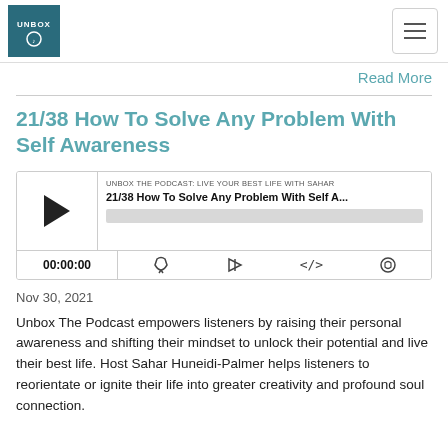UNBOX (logo) | hamburger menu
Read More
21/38 How To Solve Any Problem With Self Awareness
[Figure (screenshot): Podcast player widget showing 'UNBOX THE PODCAST: LIVE YOUR BEST LIFE WITH SAHAR' with episode title '21/38 How To Solve Any Problem With Self A...' with play button, progress bar, time display 00:00:00, and controls for subscribe, download, embed, and share.]
Nov 30, 2021
Unbox The Podcast empowers listeners by raising their personal awareness and shifting their mindset to unlock their potential and live their best life. Host Sahar Huneidi-Palmer helps listeners to reorientate or ignite their life into greater creativity and profound soul connection.